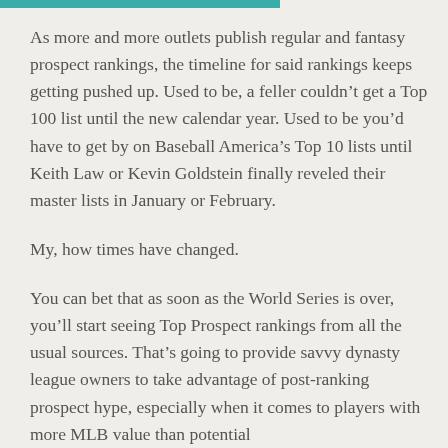As more and more outlets publish regular and fantasy prospect rankings, the timeline for said rankings keeps getting pushed up. Used to be, a feller couldn't get a Top 100 list until the new calendar year. Used to be you'd have to get by on Baseball America's Top 10 lists until Keith Law or Kevin Goldstein finally reveled their master lists in January or February.
My, how times have changed.
You can bet that as soon as the World Series is over, you'll start seeing Top Prospect rankings from all the usual sources. That's going to provide savvy dynasty league owners to take advantage of post-ranking prospect hype, especially when it comes to players with more MLB value than potential